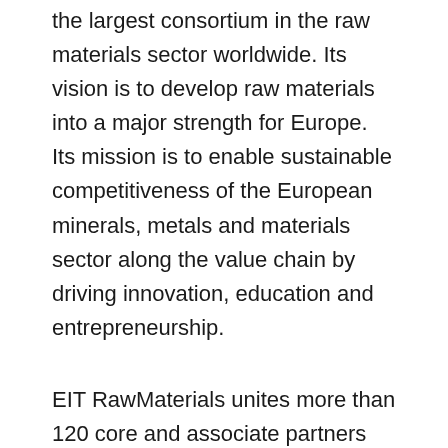the largest consortium in the raw materials sector worldwide. Its vision is to develop raw materials into a major strength for Europe. Its mission is to enable sustainable competitiveness of the European minerals, metals and materials sector along the value chain by driving innovation, education and entrepreneurship.
EIT RawMaterials unites more than 120 core and associate partners and 180+ project partners from leading industry, universities and research institutions from more than 20 EU countries. Partners of EIT RawMaterials are active across